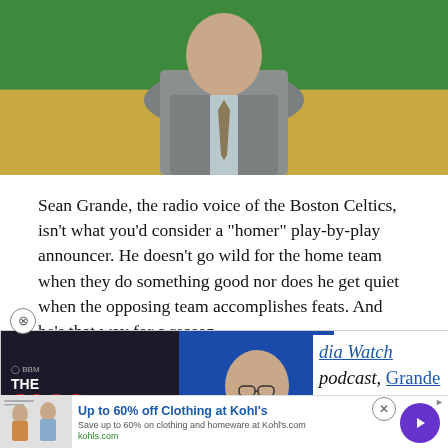[Figure (photo): Man in gray suit and tie standing on a basketball court with green background, Boston Celtics arena]
Sean Grande, the radio voice of the Boston Celtics, isn't what you'd consider a "homer" play-by-play announcer. He doesn't go wild for the home team when they do something good nor does he get quiet when the opposing team accomplishes feats. And he's that way for a reason.
[Figure (other): The Jason Barrett Podcast advertisement featuring Paul Finebaum Knows The Power, overlaid on article text showing partial text about Media Watch podcast and Grande]
[Figure (other): Kohl's advertisement: Up to 60% off Clothing at Kohl's, Save up to 60% on clothing and homeware at Kohl's.com, kohls.com]